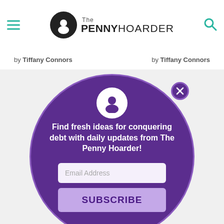The Penny Hoarder
by Tiffany Connors   by Tiffany Connors
[Figure (infographic): A purple circular modal popup on The Penny Hoarder website. It contains a white profile icon at the top, a close (X) button at the top right, the headline 'Find fresh ideas for conquering debt with daily updates from The Penny Hoarder!', an email address input field, and a SUBSCRIBE button. The background shows the word ADVERTISING partially visible.]